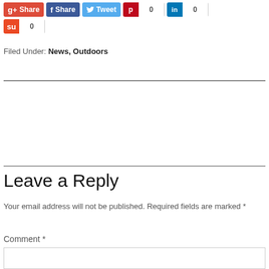[Figure (screenshot): Social sharing buttons row: Google+ Share, Facebook Share, Twitter Tweet, Pinterest with count 0, LinkedIn with count 0]
[Figure (screenshot): StumbleUpon sharing button with count 0]
Filed Under: News, Outdoors
Leave a Reply
Your email address will not be published. Required fields are marked *
Comment *